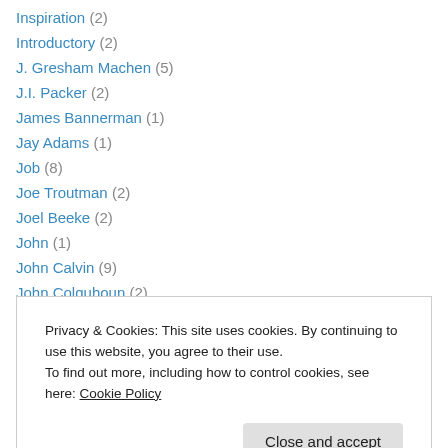Inspiration (2)
Introductory (2)
J. Gresham Machen (5)
J.I. Packer (2)
James Bannerman (1)
Jay Adams (1)
Job (8)
Joe Troutman (2)
Joel Beeke (2)
John (1)
John Calvin (9)
John Colquhoun (2)
John Flavel (1)
Privacy & Cookies: This site uses cookies. By continuing to use this website, you agree to their use.
To find out more, including how to control cookies, see here: Cookie Policy
Joshua (2)